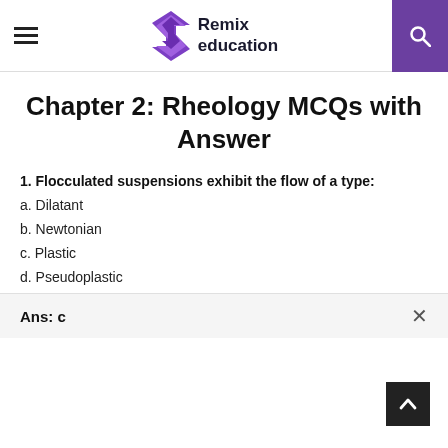Remix education
Chapter 2: Rheology MCQs with Answer
1. Flocculated suspensions exhibit the flow of a type:
a. Dilatant
b. Newtonian
c. Plastic
d. Pseudoplastic
Ans: c